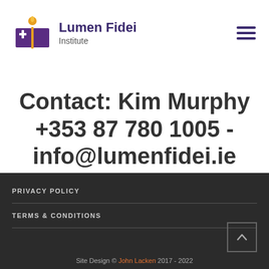[Figure (logo): Lumen Fidei Institute logo with purple book/cross icon and flame]
Contact: Kim Murphy +353 87 780 1005 - info@lumenfidei.ie
St Michael's House, Castlemitchell South, Athy, Co Kildare R14 HP68
PRIVACY POLICY
TERMS & CONDITIONS
Site Design © John Lacken 2017 - 2022